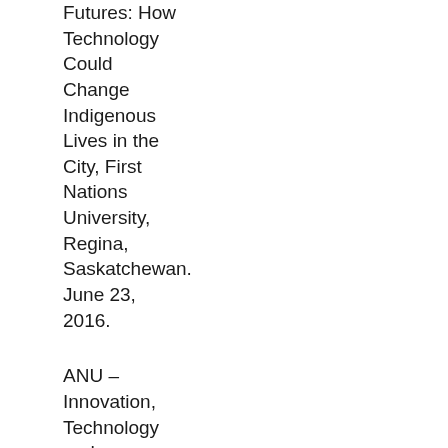Futures: How Technology Could Change Indigenous Lives in the City, First Nations University, Regina, Saskatchewan. June 23, 2016.
ANU – Innovation, Technology and Developing the North: Insights from the Arctic for